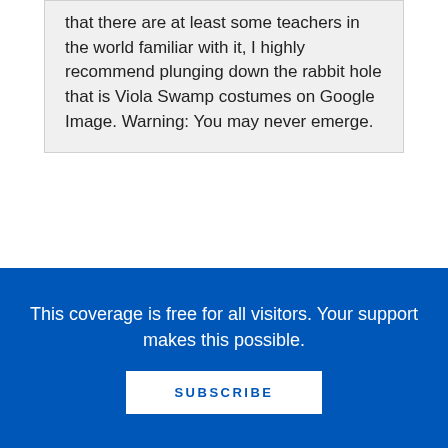that there are at least some teachers in the world familiar with it, I highly recommend plunging down the rabbit hole that is Viola Swamp costumes on Google Image. Warning: You may never emerge.
ADVERTISEMENT
This coverage is free for all visitors. Your support makes this possible.
SUBSCRIBE